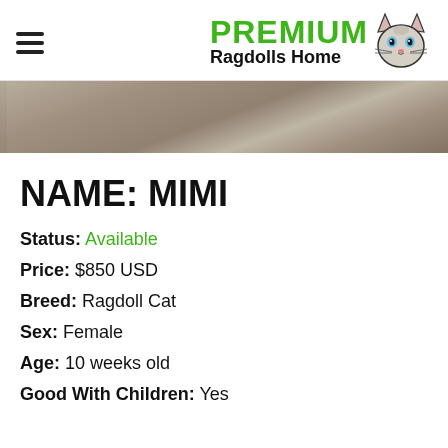PREMIUM Ragdolls Home
[Figure (photo): Partial photo of a cat on a floor, showing mostly the floor surface with a strip at top.]
NAME: MIMI
Status: Available
Price: $850 USD
Breed: Ragdoll Cat
Sex: Female
Age: 10 weeks old
Good With Children: Yes